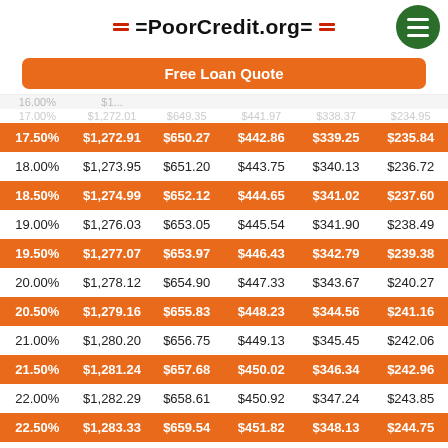PoorCredit.org
Free Loan Quote
| Rate | 1 Year | 2 Years | 3 Years | 4 Years | 5 Years |
| --- | --- | --- | --- | --- | --- |
| 17.50% | $1,272.91 | $650.27 | $442.86 | $339.25 | $235.84 |
| 18.00% | $1,273.95 | $651.20 | $443.75 | $340.13 | $236.72 |
| 18.50% | $1,274.99 | $652.12 | $444.65 | $341.02 | $237.60 |
| 19.00% | $1,276.03 | $653.05 | $445.54 | $341.90 | $238.49 |
| 19.50% | $1,277.07 | $653.97 | $446.43 | $342.79 | $239.38 |
| 20.00% | $1,278.12 | $654.90 | $447.33 | $343.67 | $240.27 |
| 20.50% | $1,279.16 | $655.83 | $448.23 | $344.56 | $241.16 |
| 21.00% | $1,280.20 | $656.75 | $449.13 | $345.45 | $242.06 |
| 21.50% | $1,281.24 | $657.68 | $450.02 | $346.34 | $242.96 |
| 22.00% | $1,282.29 | $658.61 | $450.92 | $347.24 | $243.85 |
| 22.50% | $1,283.33 | $659.54 | $451.82 | $348.13 | $244.75 |
| 23.00% | $1,284.37 | $660.47 | $452.73 | $349.02 | $245.66 |